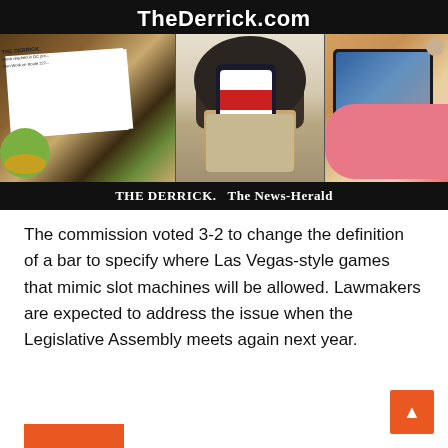[Figure (photo): TheDerrick.com website banner showing newspaper, coffee cup with phone, and tablet with flip flops. Bottom bar reads: THE DERRICK. The News-Herald]
The commission voted 3-2 to change the definition of a bar to specify where Las Vegas-style games that mimic slot machines will be allowed. Lawmakers are expected to address the issue when the Legislative Assembly meets again next year.